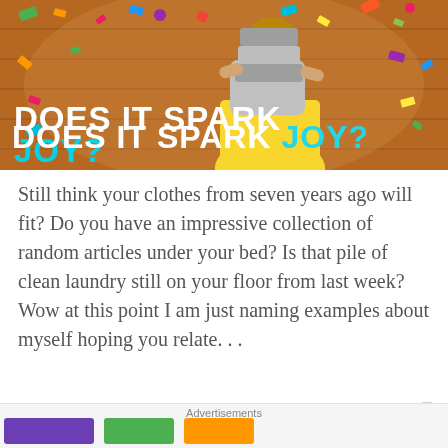[Figure (photo): Woman carrying stack of grey boxes against a wooden plank background with confetti falling. Text overlay reads 'DOES IT SPARK JOY?' with 'JOY?' in cyan/teal and the rest in white.]
Still think your clothes from seven years ago will fit? Do you have an impressive collection of random articles under your bed? Is that pile of clean laundry still on your floor from last week? Wow at this point I am just naming examples about myself hoping you relate. . .
Don't fret, Marie Kondo will definitely
Advertisements